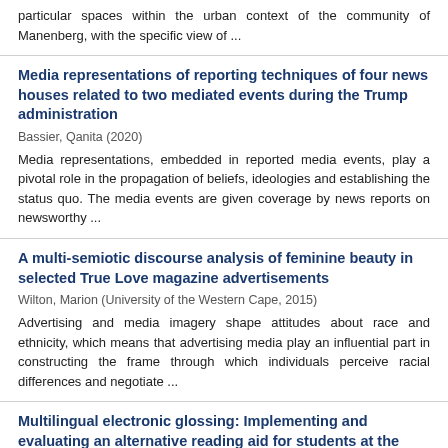particular spaces within the urban context of the community of Manenberg, with the specific view of ...
Media representations of reporting techniques of four news houses related to two mediated events during the Trump administration
Bassier, Qanita (2020)
Media representations, embedded in reported media events, play a pivotal role in the propagation of beliefs, ideologies and establishing the status quo. The media events are given coverage by news reports on newsworthy ...
A multi-semiotic discourse analysis of feminine beauty in selected True Love magazine advertisements
Wilton, Marion (University of the Western Cape, 2015)
Advertising and media imagery shape attitudes about race and ethnicity, which means that advertising media play an influential part in constructing the frame through which individuals perceive racial differences and negotiate ...
Multilingual electronic glossing: Implementing and evaluating an alternative reading aid for students at the University of the Western Cape
Pute, Mlondolozi (University of the Western Cape, 2018)